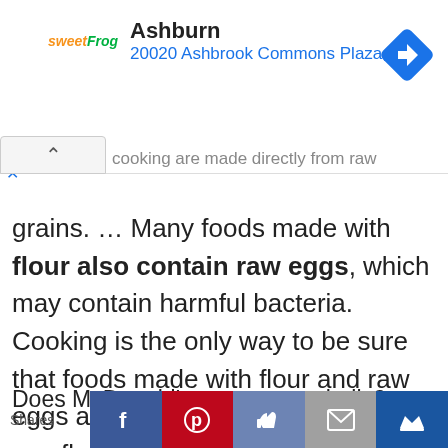[Figure (screenshot): Ad banner for sweetFrog showing location: Ashburn, 20020 Ashbrook Commons Plaza, Ste. with navigation diamond icon]
cooking are made directly from raw grains. … Many foods made with flour also contain raw eggs, which may contain harmful bacteria. Cooking is the only way to be sure that foods made with flour and raw eggs are safe. Never eat or taste raw flour, dough, or batter.
Does McDonald's use cow eyeballs?
[Figure (screenshot): Social share bar with Shares label and buttons: Facebook, Pinterest, Like, Email, Crown]